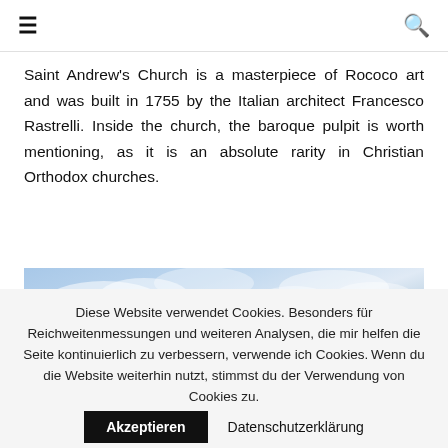≡  🔍
Saint Andrew's Church is a masterpiece of Rococo art and was built in 1755 by the Italian architect Francesco Rastrelli. Inside the church, the baroque pulpit is worth mentioning, as it is an absolute rarity in Christian Orthodox churches.
[Figure (photo): Photo of Saint Andrew's Church domes with golden crosses against a blue sky with light clouds]
Diese Website verwendet Cookies. Besonders für Reichweitenmessungen und weiteren Analysen, die mir helfen die Seite kontinuierlich zu verbessern, verwende ich Cookies. Wenn du die Website weiterhin nutzt, stimmst du der Verwendung von Cookies zu.
Akzeptieren    Datenschutzerklärung